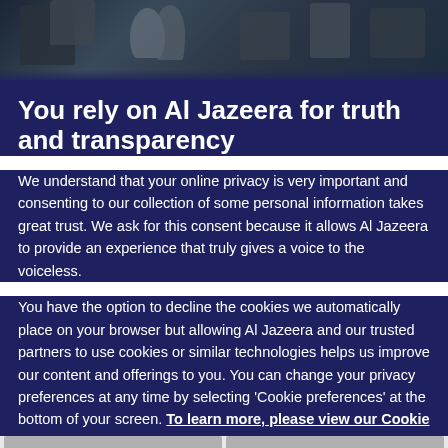[Figure (photo): News photo banner showing military personnel in background, dark toned image]
You rely on Al Jazeera for truth and transparency
We understand that your online privacy is very important and consenting to our collection of some personal information takes great trust. We ask for this consent because it allows Al Jazeera to provide an experience that truly gives a voice to the voiceless.
You have the option to decline the cookies we automatically place on your browser but allowing Al Jazeera and our trusted partners to use cookies or similar technologies helps us improve our content and offerings to you. You can change your privacy preferences at any time by selecting 'Cookie preferences' at the bottom of your screen. To learn more, please view our Cookie Policy.